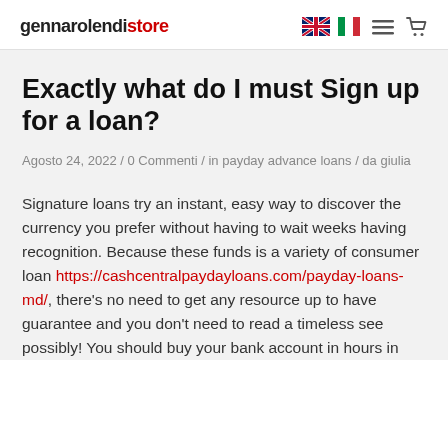gennarolendistore [navigation icons: UK flag, Italian flag, menu, cart]
Exactly what do I must Sign up for a loan?
Agosto 24, 2022 / 0 Commenti / in payday advance loans / da giulia
Signature loans try an instant, easy way to discover the currency you prefer without having to wait weeks having recognition. Because these funds is a variety of consumer loan https://cashcentralpaydayloans.com/payday-loans-md/, there's no need to get any resource up to have guarantee and you don't need to read a timeless see possibly! You should buy your bank account in hours in